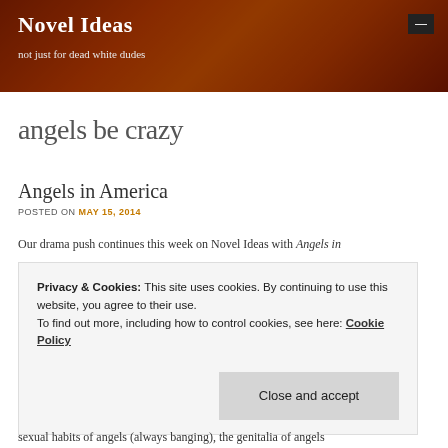Novel Ideas
not just for dead white dudes
angels be crazy
Angels in America
POSTED ON MAY 15, 2014
Our drama push continues this week on Novel Ideas with Angels in
Privacy & Cookies: This site uses cookies. By continuing to use this website, you agree to their use.
To find out more, including how to control cookies, see here: Cookie Policy
Close and accept
sexual habits of angels (always banging), the genitalia of angels